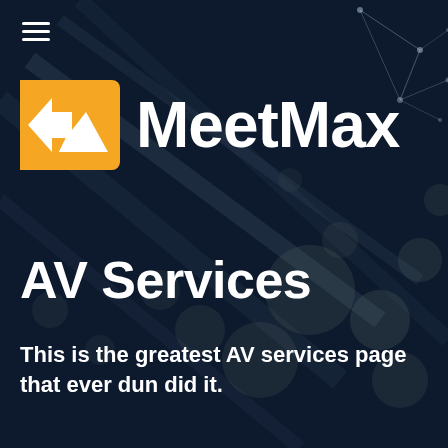[Figure (logo): MeetMax logo with orange envelope/arrow icon and white MeetMax wordmark on dark navy background with bokeh lighting and network graph decoration]
AV Services
This is the greatest AV services page that ever dun did it.